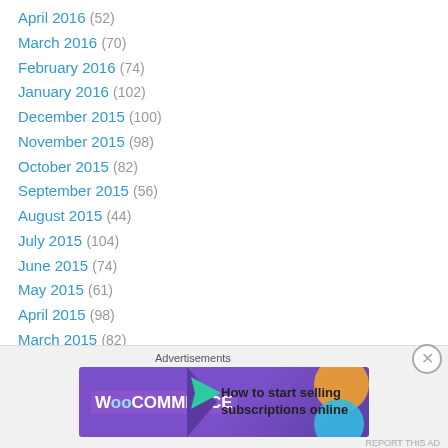April 2016 (52)
March 2016 (70)
February 2016 (74)
January 2016 (102)
December 2015 (100)
November 2015 (98)
October 2015 (82)
September 2015 (56)
August 2015 (44)
July 2015 (104)
June 2015 (74)
May 2015 (61)
April 2015 (98)
March 2015 (82)
February 2015 (118)
January 2015 (184)
[Figure (infographic): WooCommerce advertisement banner: 'How to start selling subscriptions online']